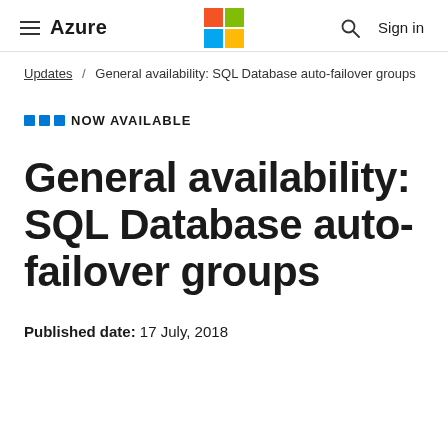Azure — Microsoft logo — Sign in
Updates / General availability: SQL Database auto-failover groups
NOW AVAILABLE
General availability: SQL Database auto-failover groups
Published date: 17 July, 2018